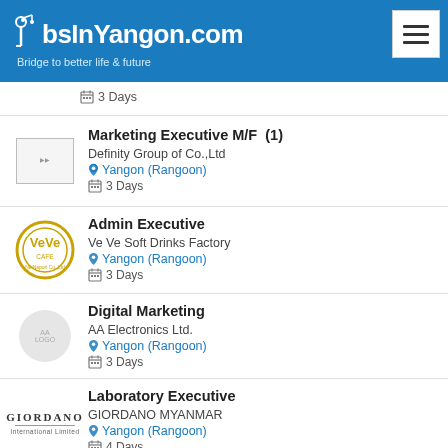JobsInYangon.com — Bridge to better life & future
3 Days
Marketing Executive M/F (1) — Definity Group of Co.,Ltd — Yangon (Rangoon) — 3 Days
Admin Executive — Ve Ve Soft Drinks Factory — Yangon (Rangoon) — 3 Days
Digital Marketing — AA Electronics Ltd. — Yangon (Rangoon) — 3 Days
Laboratory Executive — GIORDANO MYANMAR — Yangon (Rangoon) — 4 Days
Sale & Marketing Trainee - Retail Sale